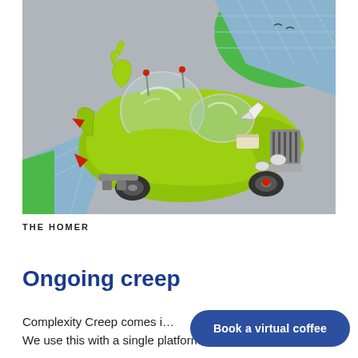[Figure (illustration): Cartoon illustration of 'The Homer' — a quirky lime-green car with a large glass dome passenger bubble, fins, megaphone horn, multiple antennae with red tips, viewed from an isometric angle on a grey road with blue-tiled curb and green grass area.]
THE HOMER
Ongoing creep
Complexity Creep comes i…
We use this with a single platform, with…